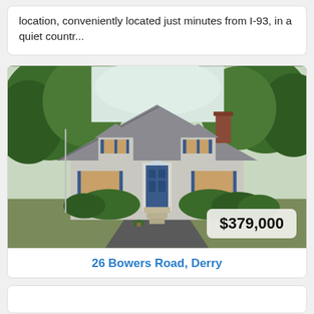location, conveniently located just minutes from I-93, in a quiet countr...
[Figure (photo): Exterior photo of a Cape Cod style house with grey siding, blue shutters, blue front door, brick chimney, surrounded by green trees and bushes. A price badge showing $379,000 is overlaid on the lower right corner of the photo.]
$379,000
26 Bowers Road, Derry